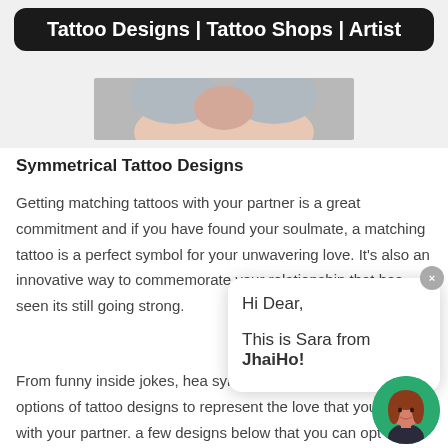Tattoo Designs | Tattoo Shops | Artist
[Figure (photo): Partial photo of a person's neck/shoulder area, cropped — skin tone visible]
Symmetrical Tattoo Designs
Getting matching tattoos with your partner is a great commitment and if you have found your soulmate, a matching tattoo is a perfect symbol for your unwavering love. It's also an innovative way to commemorate your relationship that has seen its still going strong.
From funny inside jokes, hea symbols, there are endless options of tattoo designs to represent the love that you share with your partner. a few designs below that you can opt for on your ne the tattoo salon.
[Figure (illustration): Chat popup overlay with text 'Hi Dear, This is Sara from JhaiHo!' and a Sara avatar illustration on a green circle background]